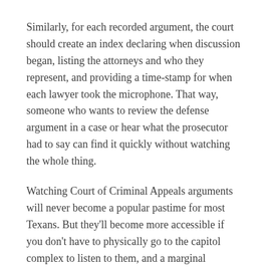Similarly, for each recorded argument, the court should create an index declaring when discussion began, listing the attorneys and who they represent, and providing a time-stamp for when each lawyer took the microphone. That way, someone who wants to review the defense argument in a case or hear what the prosecutor had to say can find it quickly without watching the whole thing.
Watching Court of Criminal Appeals arguments will never become a popular pastime for most Texans. But they'll become more accessible if you don't have to physically go to the capitol complex to listen to them, and a marginal improvement in transparency is what to expect here, not some silver bullet.
POSTED BY GRITSFORBREAKFAST AT 1:58 PM   4 COMMENTS